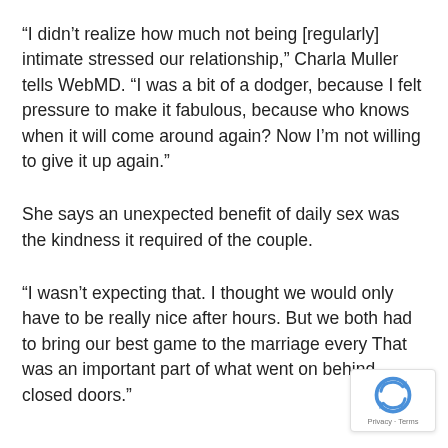“I didn’t realize how much not being [regularly] intimate stressed our relationship,” Charla Muller tells WebMD. “I was a bit of a dodger, because I felt pressure to make it fabulous, because who knows when it will come around again? Now I’m not willing to give it up again.”
She says an unexpected benefit of daily sex was the kindness it required of the couple.
“I wasn’t expecting that. I thought we would only have to be really nice after hours. But we both had to bring our best game to the marriage every That was an important part of what went on behind closed doors.”
[Figure (logo): reCAPTCHA logo with Privacy and Terms text]